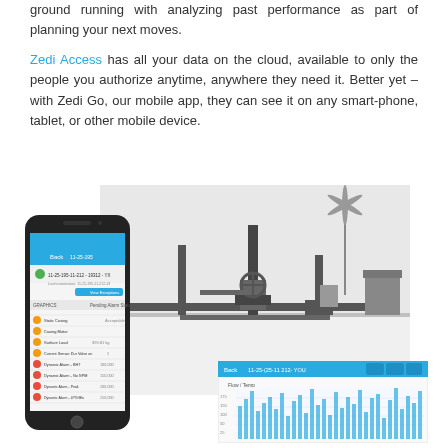ground running with analyzing past performance as part of planning your next moves.
Zedi Access has all your data on the cloud, available to only the people you authorize anytime, anywhere they need it. Better yet – with Zedi Go, our mobile app, they can see it on any smart-phone, tablet, or other mobile device.
[Figure (photo): Composite image showing: a smartphone displaying the Zedi Go mobile app interface with sensor readings and alarms list, a black-and-white photograph of oil/gas field equipment (wellhead/pipeline infrastructure in a snowy landscape with a wind turbine in background), and a tablet/screen showing a data dashboard with a bar chart labeled 'Flow / Temp' and a date range selector showing '11-25-(25-11 212- YOU'.]